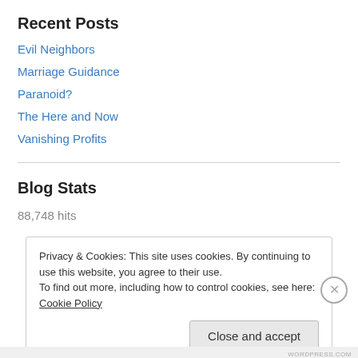Recent Posts
Evil Neighbors
Marriage Guidance
Paranoid?
The Here and Now
Vanishing Profits
Blog Stats
88,748 hits
Privacy & Cookies: This site uses cookies. By continuing to use this website, you agree to their use.
To find out more, including how to control cookies, see here: Cookie Policy
Close and accept